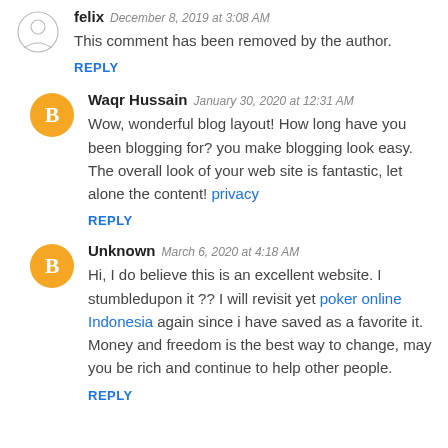[Figure (illustration): Sketch avatar of user felix]
felix  December 8, 2019 at 3:08 AM
This comment has been removed by the author.
REPLY
[Figure (illustration): Orange circle Blogger avatar for Waqr Hussain]
Waqr Hussain  January 30, 2020 at 12:31 AM
Wow, wonderful blog layout! How long have you been blogging for? you make blogging look easy. The overall look of your web site is fantastic, let alone the content! privacy
REPLY
[Figure (illustration): Orange circle Blogger avatar for Unknown]
Unknown  March 6, 2020 at 4:18 AM
Hi, I do believe this is an excellent website. I stumbledupon it ?? I will revisit yet poker online Indonesia again since i have saved as a favorite it. Money and freedom is the best way to change, may you be rich and continue to help other people.
REPLY